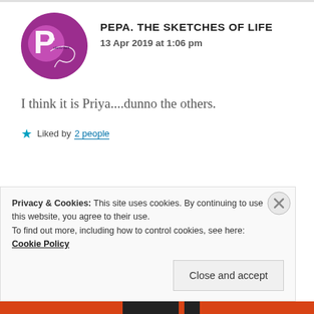[Figure (logo): Pepa The Sketches of Life blog logo - circular purple/magenta icon with stylized text]
PEPA. THE SKETCHES OF LIFE
13 Apr 2019 at 1:06 pm
I think it is Priya....dunno the others.
Liked by 2 people
[Figure (photo): Avatar of Zealous Homo Sapiens - person wearing a hat, circular cropped photo]
ZEALOUS HOMO SAPIENS
Privacy & Cookies: This site uses cookies. By continuing to use this website, you agree to their use.
To find out more, including how to control cookies, see here: Cookie Policy
Close and accept